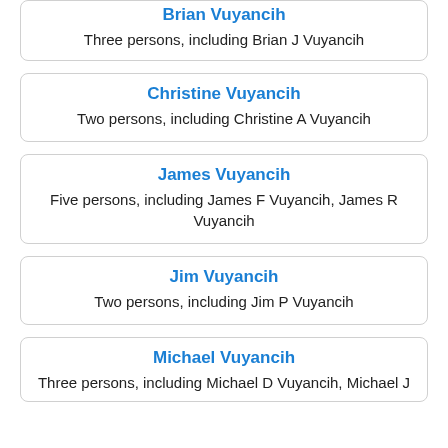Brian Vuyancih
Three persons, including Brian J Vuyancih
Christine Vuyancih
Two persons, including Christine A Vuyancih
James Vuyancih
Five persons, including James F Vuyancih, James R Vuyancih
Jim Vuyancih
Two persons, including Jim P Vuyancih
Michael Vuyancih
Three persons, including Michael D Vuyancih, Michael J